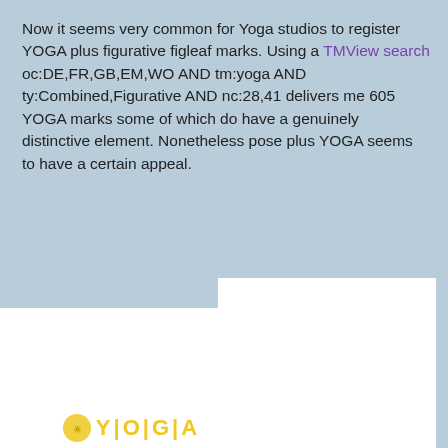Now it seems very common for Yoga studios to register YOGA plus figurative figleaf marks. Using a TMView search oc:DE,FR,GB,EM,WO AND tm:yoga AND ty:Combined,Figurative AND nc:28,41 delivers me 605 YOGA marks some of which do have a genuinely distinctive element. Nonetheless pose plus YOGA seems to have a certain appeal.
[Figure (photo): White rectangular image placeholder (left), partially overlapped by a second white rectangular image placeholder (right) positioned slightly higher.]
[Figure (logo): Partial view of a YOGA logo with a yellow circular emblem and yellow stylized text 'YOGA' at the bottom of the page.]